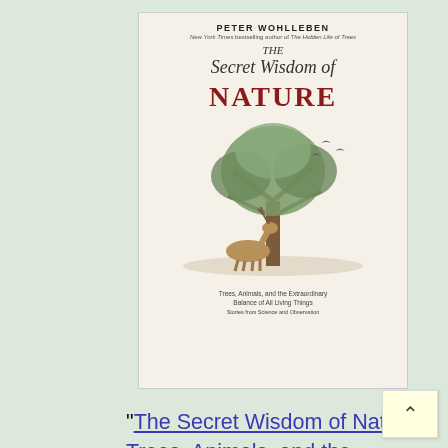[Figure (illustration): Book cover of 'The Secret Wisdom of Nature' by Peter Wohlleben. Cream/off-white background. Author name 'PETER WOHLLEBEN' at top in bold caps. Below that 'New York Times bestselling author of The Hidden Life of Trees'. Then 'THE' in italic, 'Secret Wisdom of' in italic, and 'NATURE' in large bold dark red/maroon. Center illustration shows a tree with animals (deer grazing beneath, birds flying). Bottom subtitle: 'Trees, Animals, and the Extraordinary Balance of All Living Things' and 'Stories from Science and Observation'.]
"The Secret Wisdom of Nature - Trees, Animals, and the Extraordinary Balance of All Living Things, Stories from Science and Observation," by Peter Wohlleben, the guy who wrote "The Hidden Life of Trees" - a wonderful book full of things you hadn't realized or thought about. The main premise: Everything is connected. Nature only gets out of